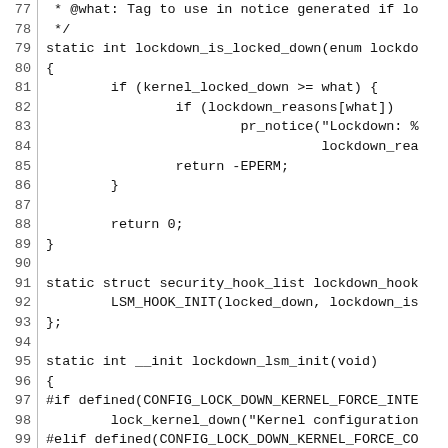[Figure (screenshot): Source code listing in a monospace font showing C code for a kernel lockdown LSM module, lines 77 through 106. Line numbers are shown in a left column separated by a vertical rule. The code includes a static function lockdown_is_locked_down, a security_hook_list definition, and a lockdown_lsm_init function with preprocessor conditionals.]